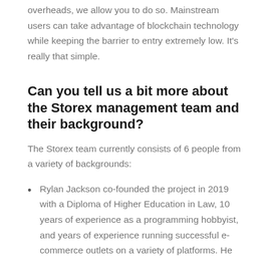overheads, we allow you to do so. Mainstream users can take advantage of blockchain technology while keeping the barrier to entry extremely low. It's really that simple.
Can you tell us a bit more about the Storex management team and their background?
The Storex team currently consists of 6 people from a variety of backgrounds:
Rylan Jackson co-founded the project in 2019 with a Diploma of Higher Education in Law, 10 years of experience as a programming hobbyist, and years of experience running successful e-commerce outlets on a variety of platforms. He